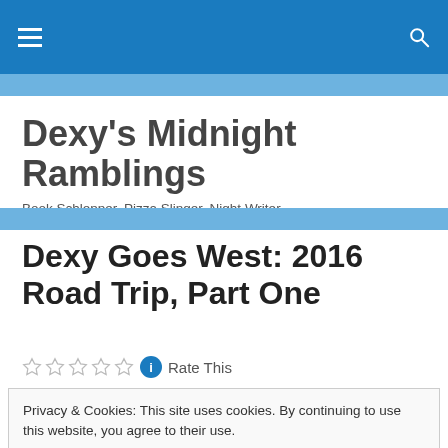Dexy's Midnight Ramblings — navigation bar
Dexy's Midnight Ramblings
Book Schlepper, Pizza Slinger, Night Writer
Dexy Goes West: 2016 Road Trip, Part One
Rate This
Privacy & Cookies: This site uses cookies. By continuing to use this website, you agree to their use.
To find out more, including how to control cookies, see here: Cookie Policy